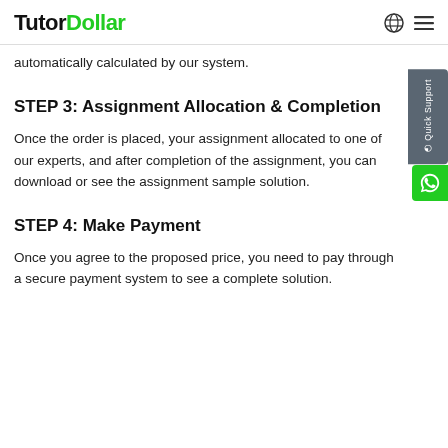TutorDollar
automatically calculated by our system.
STEP 3: Assignment Allocation & Completion
Once the order is placed, your assignment allocated to one of our experts, and after completion of the assignment, you can download or see the assignment sample solution.
STEP 4: Make Payment
Once you agree to the proposed price, you need to pay through a secure payment system to see a complete solution.